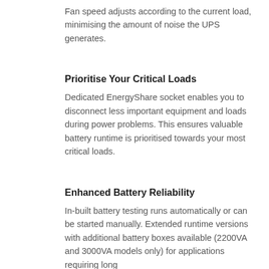Fan speed adjusts according to the current load, minimising the amount of noise the UPS generates.
Prioritise Your Critical Loads
Dedicated EnergyShare socket enables you to disconnect less important equipment and loads during power problems. This ensures valuable battery runtime is prioritised towards your most critical loads.
Enhanced Battery Reliability
In-built battery testing runs automatically or can be started manually. Extended runtime versions with additional battery boxes available (2200VA and 3000VA models only) for applications requiring long